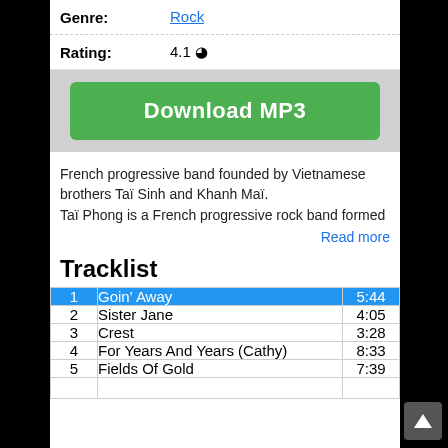Genre: Rock
Rating: 4.1
[Figure (other): Green Download MP3 button]
French progressive band founded by Vietnamese brothers Taï Sinh and Khanh Maï.
Taï Phong is a French progressive rock band formed
Read more
Tracklist
| # | Title | Duration |
| --- | --- | --- |
| 1 | Goin' Away | 5:44 |
| 2 | Sister Jane | 4:05 |
| 3 | Crest | 3:28 |
| 4 | For Years And Years (Cathy) | 8:33 |
| 5 | Fields Of Gold | 7:39 |